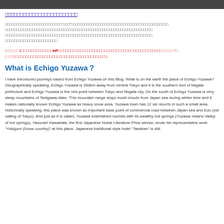[navigation bar]
[Japanese link text underlined in blue]
[Japanese text paragraph]
[Red Japanese text - reference note with HP link]
What is Echigo Yuzawa？
I have introduced journeys based from Echigo Yuzawa on this Blog. What is on the earth the place of Echigo Yuzawa?
Geographically speaking, Echigo Yuzawa is 200km away from central Tokyo and it is the southern end of Niigata prefecture and Echigo Yuzawa is the mid-point between Tokyo and Niigata city. On the south of Echigo Yuzawa is very steep mountains of Tanigawa-dake. This mountain range stops moist clouds from Japan sea during winter time and it makes nationally known Echigo Yuzawa as heavy snow area. Yuzawa town has 12 ski resorts in such a small area.
Historically speaking, this place was known as important base point of commercial road between Japan sea and Edo (old calling of Tokyo). And just as it is called, Yuzawa entertained tourists with its wealthy hot springs (Yuzawa means Valley of hot springs). Yasunari Kawabata, the first Japanese Nobel Literature Prize winner, wrote his representative work "Yukiguni (Snow country)" at this place. Japanese traditional style hotel "Takahan" is still